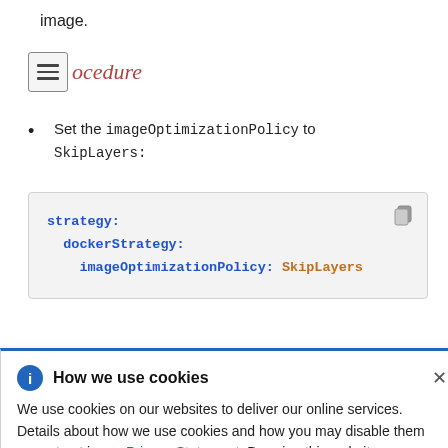image.
Procedure
Set the imageOptimizationPolicy to SkipLayers:
[Figure (screenshot): Code block showing YAML configuration: strategy: dockerStrategy: imageOptimizationPolicy: SkipLayers]
How we use cookies
We use cookies on our websites to deliver our online services. Details about how we use cookies and how you may disable them are set out in our Privacy Statement. By using this website you agree to our use of cookies.
ng
s ready-to-
into a
age. The
new image incorporates the base image, the builder,